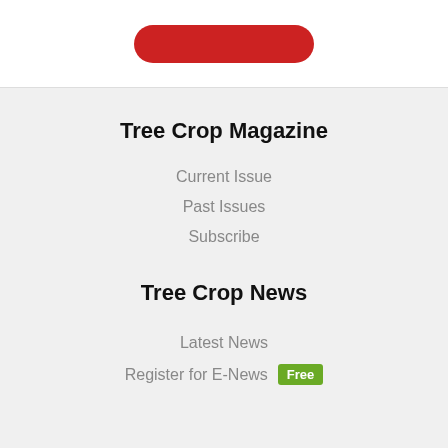[Figure (other): Red rounded rectangle button at top of page]
Tree Crop Magazine
Current Issue
Past Issues
Subscribe
Tree Crop News
Latest News
Register for E-News Free